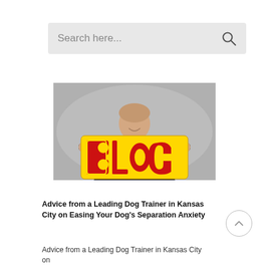[Figure (screenshot): Search bar input field with placeholder text 'Search here...' and a magnifying glass icon on the right, on a light gray background]
[Figure (photo): A man in a dark blazer holding a large red and yellow 'BLOG' sign in front of him, smiling, against a gray background]
Advice from a Leading Dog Trainer in Kansas City on Easing Your Dog's Separation Anxiety
Advice from a Leading Dog Trainer in Kansas City on